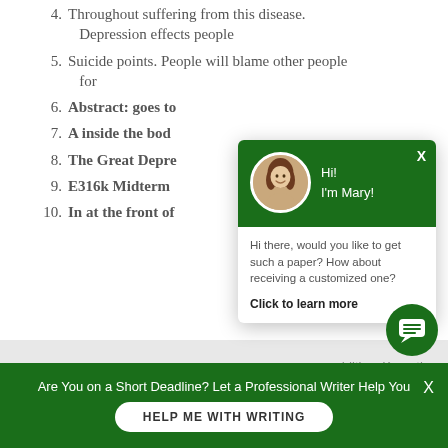4. Throughout suffering from this disease.
Depression effects people
5. Suicide points. People will blame other people for
6. Abstract: goes to...
7. A inside the bod...
8. The Great Depre...
9. E316k Midterm
10. In at the front of...
[Figure (screenshot): Chat popup with avatar of woman named Mary, green header, message 'Hi there, would you like to get such a paper? How about receiving a customized one?' and 'Click to learn more' CTA]
« When a workout. My a... and legs felt
additive. Keep th... »
Are You on a Short Deadline? Let a Professional Writer Help You
HELP ME WITH WRITING